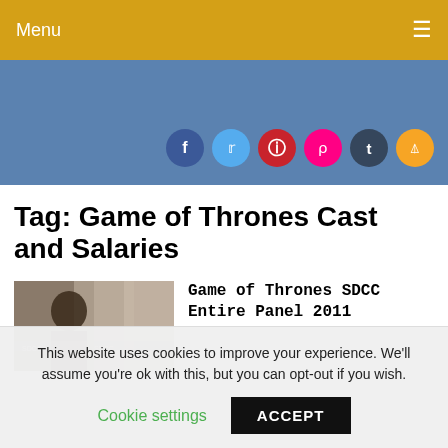Menu
[Figure (infographic): Blue header area with social media icon buttons: Facebook, Twitter, Pinterest, Flickr, Tumblr, RSS]
Tag: Game of Thrones Cast and Salaries
[Figure (photo): Thumbnail image showing a person at what appears to be a San Diego Comic-Con panel event]
Game of Thrones SDCC Entire Panel 2011
This website uses cookies to improve your experience. We'll assume you're ok with this, but you can opt-out if you wish.
Cookie settings   ACCEPT